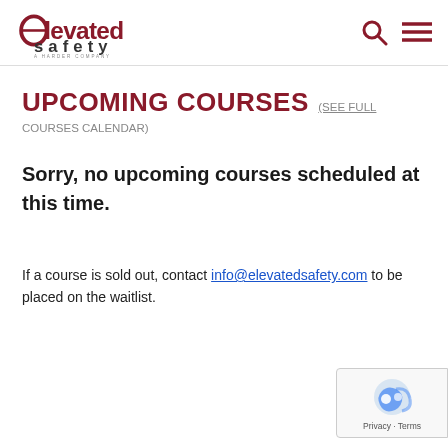elevated safety — A HARDER COMPANY
UPCOMING COURSES (SEE FULL COURSES CALENDAR)
Sorry, no upcoming courses scheduled at this time.
If a course is sold out, contact info@elevatedsafety.com to be placed on the waitlist.